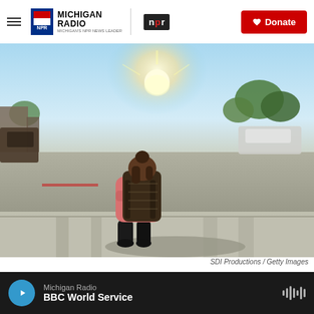Michigan Radio / NPR — Donate
[Figure (photo): A child with a backpack and pink jacket sits alone on a curb at a school drop-off area, facing away from the camera, with sunlight and vehicles in the background.]
SDI Productions / Getty Images
As schools across the country reopen, menta
Michigan Radio — BBC World Service